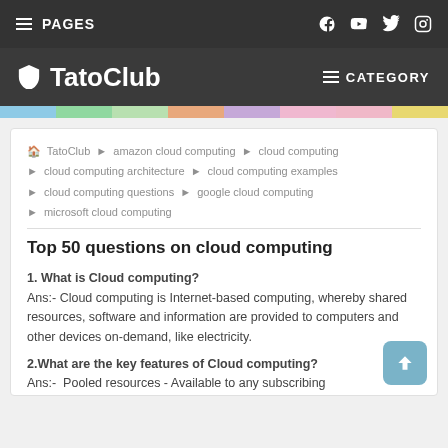≡ PAGES   f ▶ t ⬛
🛡 TatoClub   ≡ CATEGORY
breadcrumb: 🏠 TatoClub ▶ amazon cloud computing ▶ cloud computing ▶ cloud computing architecture ▶ cloud computing examples ▶ cloud computing questions ▶ google cloud computing ▶ microsoft cloud computing
Top 50 questions on cloud computing
1. What is Cloud computing?
Ans:- Cloud computing is Internet-based computing, whereby shared resources, software and information are provided to computers and other devices on-demand, like electricity.
2.What are the key features of Cloud computing?
Ans:- Pooled resources - Available to any subscribing